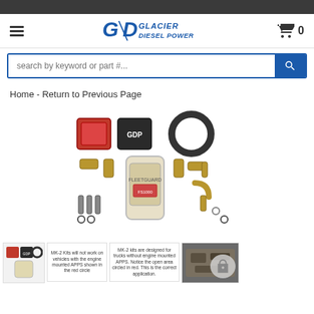Glacier Diesel Power - header with logo, navigation hamburger, cart, and search bar
Home - Return to Previous Page
[Figure (photo): Product photo showing a diesel fuel filter kit (MK-2 kit) with components including filter canister, mounting plates (red and black with GDP logo), rubber gasket ring, brass fittings, bolts, and hardware laid out on white background]
[Figure (photo): Thumbnail row: small product thumbnail image of kit components, text panel 'MK-2 Kits will not work on vehicles with the engine mounted APPS shown in the red circle', text panel 'MK-2 kits are designed for trucks without engine mounted APPS. Notice the open area circled in red. This is the correct application.', and engine photo thumbnail with a semi-transparent circular chat/lock overlay icon]